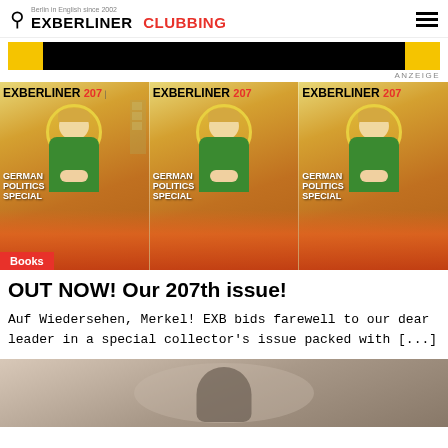EXBERLINER CLUBBING
[Figure (illustration): Yellow and black advertisement banner with ANZEIGE label]
[Figure (photo): Three repeated EXBERLINER magazine issue 207 covers showing Angela Merkel in green jacket with halo, German Politics Special edition, with Books tag overlay]
OUT NOW! Our 207th issue!
Auf Wiedersehen, Merkel! EXB bids farewell to our dear leader in a special collector's issue packed with [...]
[Figure (photo): Bottom partial image showing a dark silhouette figure against a light background]